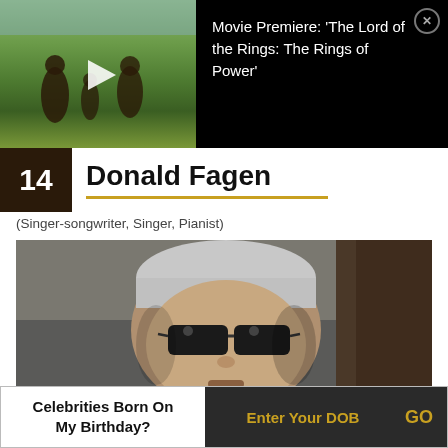[Figure (screenshot): Video thumbnail showing people in a field with a play button, alongside text for Movie Premiere: 'The Lord of the Rings: The Rings of Power']
Movie Premiere: 'The Lord of the Rings: The Rings of Power'
14
Donald Fagen
(Singer-songwriter, Singer, Pianist)
[Figure (photo): Photo of Donald Fagen wearing sunglasses, grey-haired man]
Celebrities Born On My Birthday?
Enter Your DOB
GO